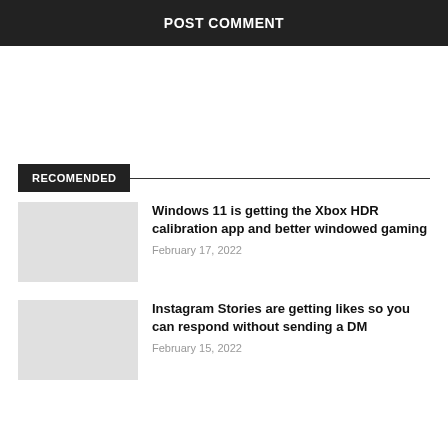POST COMMENT
RECOMENDED
Windows 11 is getting the Xbox HDR calibration app and better windowed gaming
February 17, 2022
Instagram Stories are getting likes so you can respond without sending a DM
February 15, 2022